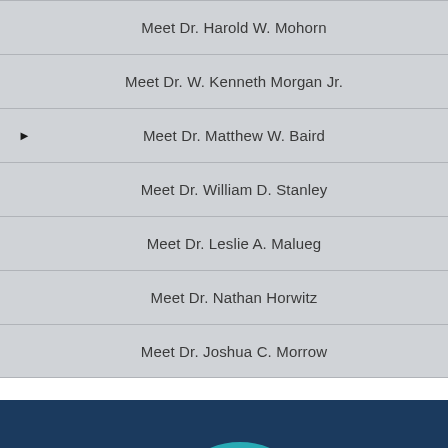Meet Dr. Harold W. Mohorn
Meet Dr. W. Kenneth Morgan Jr.
Meet Dr. Matthew W. Baird
Meet Dr. William D. Stanley
Meet Dr. Leslie A. Malueg
Meet Dr. Nathan Horwitz
Meet Dr. Joshua C. Morrow
[Figure (logo): AAE logo with overlapping gold, teal, and dark blue circles with letters 'a' and 'e', plus a wheelchair accessibility icon button in the lower left]